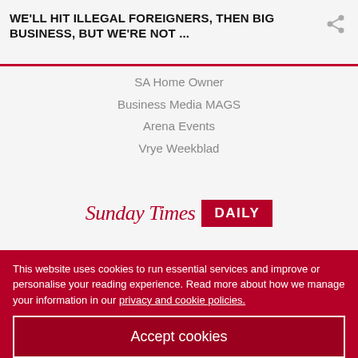WE'LL HIT ILLEGAL FOREIGNERS, THEN BIG BUSINESS, BUT WE'RE NOT ...
SA Home Owner
Business Media MAGS
Arena Events
Vrye Weekblad
[Figure (logo): Sunday Times Daily logo — red serif italic 'Sunday Times' text beside a red rectangle with white bold 'DAILY' text]
[Figure (illustration): Two grey circular social media icons — Facebook (f) and Twitter (bird)]
This website uses cookies to run essential services and improve or personalise your reading experience. Read more about how we manage your information in our privacy and cookie policies.
Accept cookies